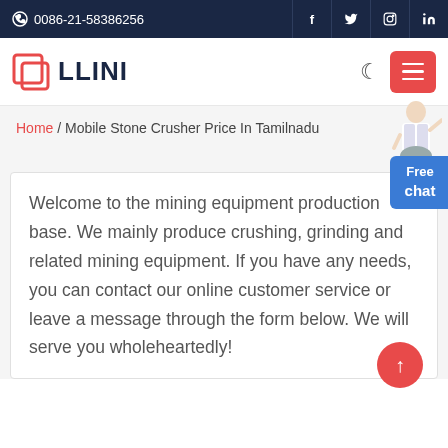0086-21-58386256
[Figure (logo): LLINI company logo with red square icon and dark blue text]
Home / Mobile Stone Crusher Price In Tamilnadu
Welcome to the mining equipment production base. We mainly produce crushing, grinding and related mining equipment. If you have any needs, you can contact our online customer service or leave a message through the form below. We will serve you wholeheartedly!